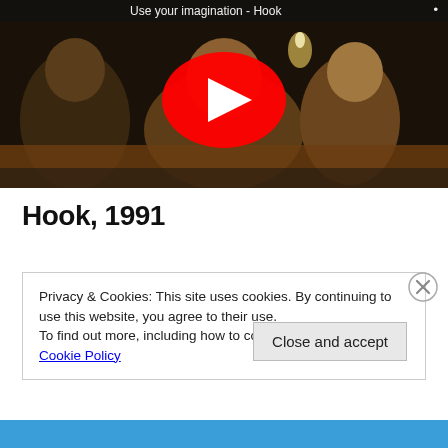[Figure (screenshot): YouTube video thumbnail showing a scene from Hook (1991) with children at a table, with a red YouTube play button overlay in the center. The video title partially visible at top reads 'Use your imagination - Hook']
Hook, 1991
Privacy & Cookies: This site uses cookies. By continuing to use this website, you agree to their use.
To find out more, including how to control cookies, see here: Cookie Policy
Close and accept